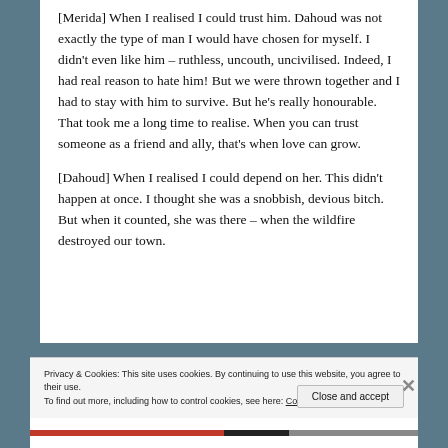[Merida] When I realised I could trust him. Dahoud was not exactly the type of man I would have chosen for myself. I didn't even like him – ruthless, uncouth, uncivilised. Indeed, I had real reason to hate him! But we were thrown together and I had to stay with him to survive. But he's really honourable. That took me a long time to realise. When you can trust someone as a friend and ally, that's when love can grow.
[Dahoud] When I realised I could depend on her. This didn't happen at once. I thought she was a snobbish, devious bitch. But when it counted, she was there – when the wildfire destroyed our town.
Privacy & Cookies: This site uses cookies. By continuing to use this website, you agree to their use.
To find out more, including how to control cookies, see here: Cookie Policy